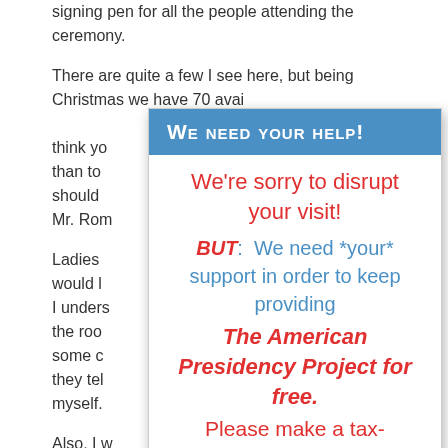signing pen for all the people attending the ceremony.

There are quite a few I see here, but being Christmas we have 70 available--I think you her than to. ans, Mr. Ro

Ladies ent, I would l s over, I unders one of the roo njoy some c ich they tel em myself.

Also, I w ceremony. appropriate to put the two ceremonies that I participate in today as President of the United States in their proper perspective.
We need your help!
We're sorry to disrupt your visit!
BUT: We need *your* support in order to keep providing The American Presidency Project for free.
Please make a tax-deductible gift!  Every gift